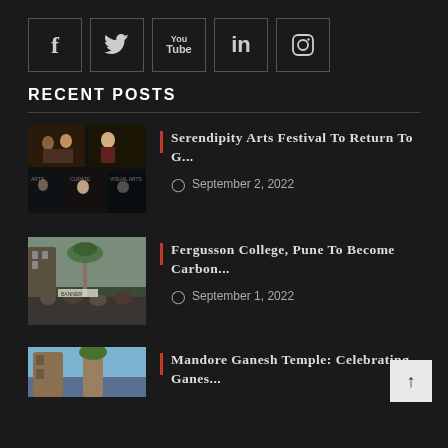[Figure (other): Row of 5 social media icon buttons (Facebook, Twitter, YouTube, LinkedIn, Instagram) in square bordered boxes on dark background]
RECENT POSTS
[Figure (photo): Thumbnail image of Serendipity Arts Festival collage with multiple people]
Serendipity Arts Festival To Return To G...
September 2, 2022
[Figure (photo): Thumbnail image of Fergusson College Pune with students and palm tree]
Fergusson College, Pune To Become Carbon...
September 1, 2022
[Figure (photo): Partial thumbnail of Mandore Ganesh Temple]
Mandore Ganesh Temple: Celebrating Ganes...